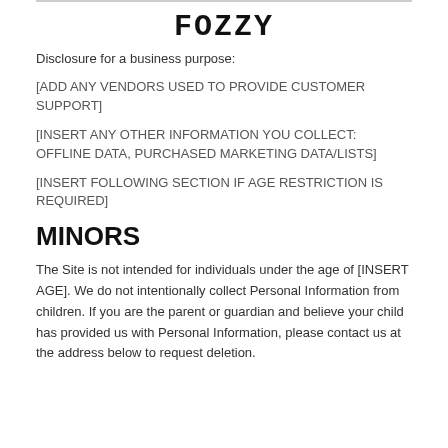FOZZY
Disclosure for a business purpose:
[ADD ANY VENDORS USED TO PROVIDE CUSTOMER SUPPORT]
[INSERT ANY OTHER INFORMATION YOU COLLECT: OFFLINE DATA, PURCHASED MARKETING DATA/LISTS]
[INSERT FOLLOWING SECTION IF AGE RESTRICTION IS REQUIRED]
MINORS
The Site is not intended for individuals under the age of [INSERT AGE]. We do not intentionally collect Personal Information from children. If you are the parent or guardian and believe your child has provided us with Personal Information, please contact us at the address below to request deletion.